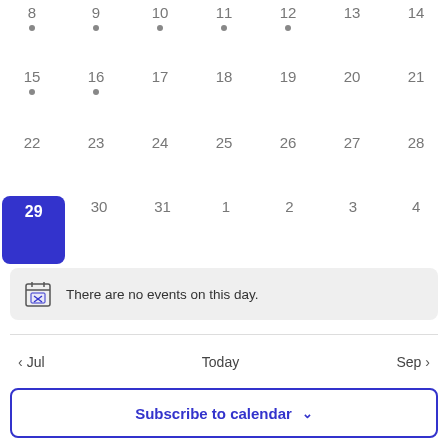[Figure (screenshot): Partial calendar view showing dates 8-14 (row 1), 15-21 (row 2), 22-28 (row 3), and 29-4 (row 4) with date 29 highlighted in blue. Below the calendar is a 'no events' message box, navigation bar with Jul, Today, Sep, and a Subscribe to calendar button.]
There are no events on this day.
< Jul   Today   Sep >
Subscribe to calendar ∨